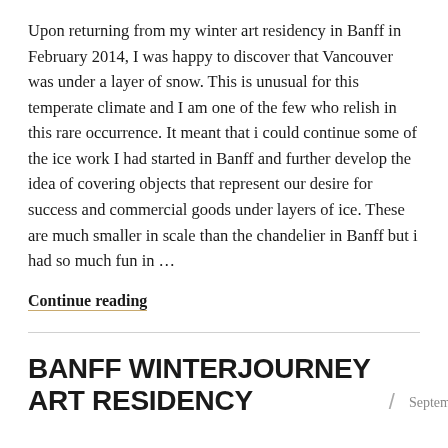Upon returning from my winter art residency in Banff in February 2014, I was happy to discover that Vancouver was under a layer of snow. This is unusual for this temperate climate and I am one of the few who relish in this rare occurrence. It meant that i could continue some of the ice work I had started in Banff and further develop the idea of covering objects that represent our desire for success and commercial goods under layers of ice. These are much smaller in scale than the chandelier in Banff but i had so much fun in ...
Continue reading
BANFF WINTERJOURNEY ART RESIDENCY
September 2, 2014